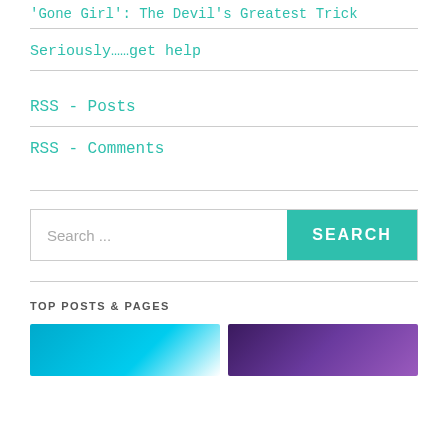'Gone Girl': The Devil's Greatest Trick
Seriously……get help
RSS - Posts
RSS - Comments
Search ...
TOP POSTS & PAGES
[Figure (photo): Two thumbnail images at the bottom of the page: left thumbnail is blue/cyan colored, right thumbnail is purple/dark colored]